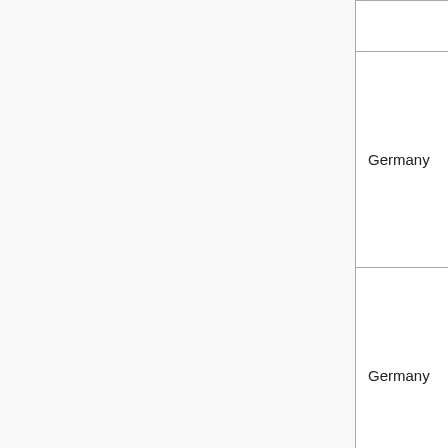| Country | Name | Region | Description |
| --- | --- | --- | --- |
|  | Maria [link] |  |  |
| Germany | Janie No. 5 [link] (Stephanie König) | Bodensee | Swabia (slightly… |
| Germany | Carolin [link] | Bremen | Germa… Hansea… Groning… |
|  |  |  |  |